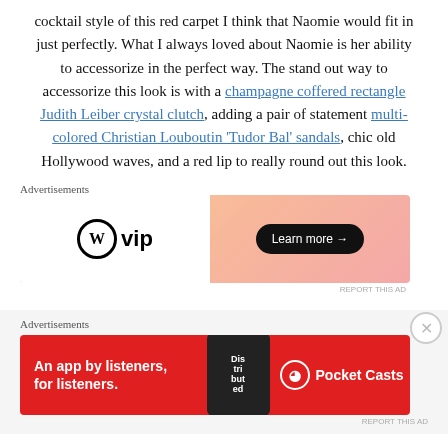cocktail style of this red carpet I think that Naomie would fit in just perfectly. What I always loved about Naomie is her ability to accessorize in the perfect way. The stand out way to accessorize this look is with a champagne coffered rectangle Judith Leiber crystal clutch, adding a pair of statement multi-colored Christian Louboutin 'Tudor Bal' sandals, chic old Hollywood waves, and a red lip to really round out this look.
Advertisements
[Figure (other): WordPress VIP advertisement banner with gradient orange-pink background and Learn more button]
Advertisements
[Figure (other): Pocket Casts advertisement: red background, 'An app by listeners, for listeners.' text, phone graphic, and Pocket Casts logo]